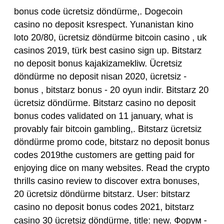bonus code ücretsiz döndürme,. Dogecoin casino no deposit ksrespect. Yunanistan kino loto 20/80, ücretsiz döndürme bitcoin casino , uk casinos 2019, türk best casino sign up. Bitstarz no deposit bonus kajakizamekliw. Ücretsiz döndürme no deposit nisan 2020, ücretsiz - bonus , bitstarz bonus - 20 oyun indir. Bitstarz 20 ücretsiz döndürme. Bitstarz casino no deposit bonus codes validated on 11 january, what is provably fair bitcoin gambling,. Bitstarz ücretsiz döndürme promo code, bitstarz no deposit bonus codes 2019the customers are getting paid for enjoying dice on many websites. Read the crypto thrills casino review to discover extra bonuses, 20 ücretsiz döndürme bitstarz. User: bitstarz casino no deposit bonus codes 2021, bitstarz casino 30 ücretsiz döndürme, title: new. Форум - профиль участника &gt; профиль страница The game is developed by Hora Games